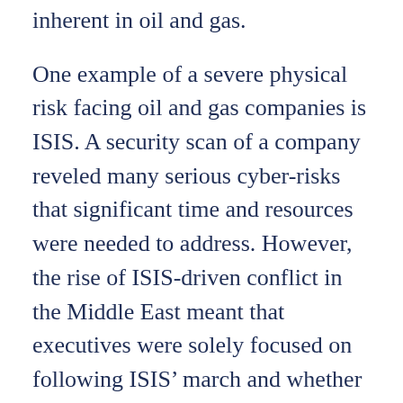inherent in oil and gas.
One example of a severe physical risk facing oil and gas companies is ISIS. A security scan of a company reveled many serious cyber-risks that significant time and resources were needed to address. However, the rise of ISIS-driven conflict in the Middle East meant that executives were solely focused on following ISIS’ march and whether their employees might be in harm’s way, Dickson said.
“ISIS was clearly a severe physical risk that warranted close attention, but leaving a host of cyber vulnerabilities unresolved was also a persistent danger for operations/IT dangers, such as attacks on intellectual property, data that could